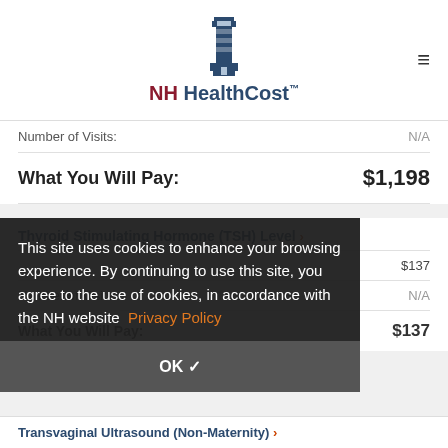[Figure (logo): NH HealthCost lighthouse logo with text 'NH HealthCost' and trademark symbol]
Number of Visits: N/A
What You Will Pay: $1,198
Thyroid Stimulating Hormone (TSH) Level ›
$137
Number of Visits: N/A
What You Will Pay: $137
This site uses cookies to enhance your browsing experience. By continuing to use this site, you agree to the use of cookies, in accordance with the NH website Privacy Policy
OK ✓
Transvaginal Ultrasound (Non-Maternity) ›